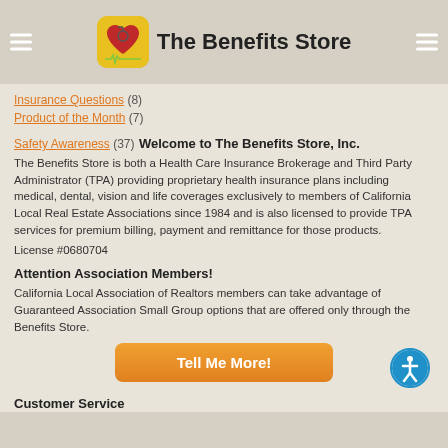The Benefits Store
Insurance Questions (8)
Product of the Month (7)
Safety Awareness (37)
Welcome to The Benefits Store, Inc.
The Benefits Store is both a Health Care Insurance Brokerage and Third Party Administrator (TPA) providing proprietary health insurance plans including medical, dental, vision and life coverages exclusively to members of California Local Real Estate Associations since 1984 and is also licensed to provide TPA services for premium billing, payment and remittance for those products.
License #0680704
Attention Association Members!
California Local Association of Realtors members can take advantage of Guaranteed Association Small Group options that are offered only through the Benefits Store.
Tell Me More!
Customer Service